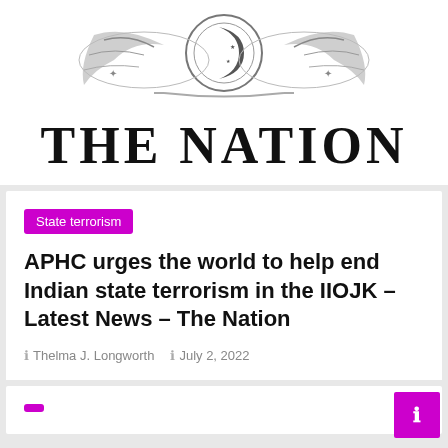[Figure (logo): The Nation newspaper masthead with ornate emblem featuring crescent moon and stars above, and bold serif text 'THE NATION' below]
State terrorism
APHC urges the world to help end Indian state terrorism in the IIOJK – Latest News – The Nation
Thelma J. Longworth   July 2, 2022